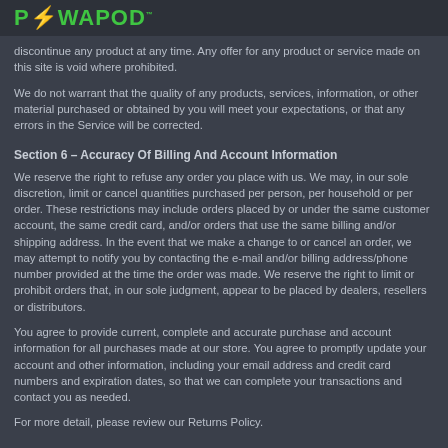POWAPOD
discontinue any product at any time. Any offer for any product or service made on this site is void where prohibited.
We do not warrant that the quality of any products, services, information, or other material purchased or obtained by you will meet your expectations, or that any errors in the Service will be corrected.
Section 6 – Accuracy Of Billing And Account Information
We reserve the right to refuse any order you place with us. We may, in our sole discretion, limit or cancel quantities purchased per person, per household or per order. These restrictions may include orders placed by or under the same customer account, the same credit card, and/or orders that use the same billing and/or shipping address. In the event that we make a change to or cancel an order, we may attempt to notify you by contacting the e-mail and/or billing address/phone number provided at the time the order was made. We reserve the right to limit or prohibit orders that, in our sole judgment, appear to be placed by dealers, resellers or distributors.
You agree to provide current, complete and accurate purchase and account information for all purchases made at our store. You agree to promptly update your account and other information, including your email address and credit card numbers and expiration dates, so that we can complete your transactions and contact you as needed.
For more detail, please review our Returns Policy.